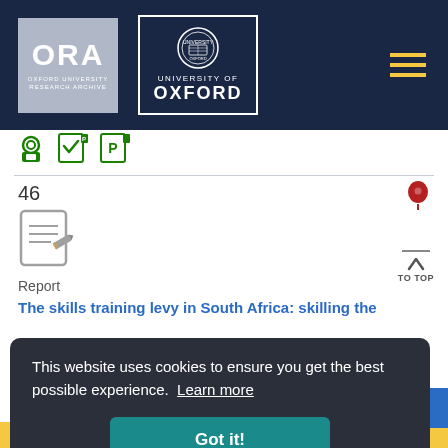[Figure (logo): ORA Oxford University Research Archive logo and University of Oxford crest logo on dark navy header bar with hamburger menu]
[Figure (infographic): Row of three small icons: open access lock, peer-reviewed checkbox, and parking/preprint icon]
46
[Figure (infographic): Document with pencil edit icon (report icon)]
Report
The skills training levy in South Africa: skilling the w
J
This website uses cookies to ensure you get the best possible experience. Learn more
Got it!